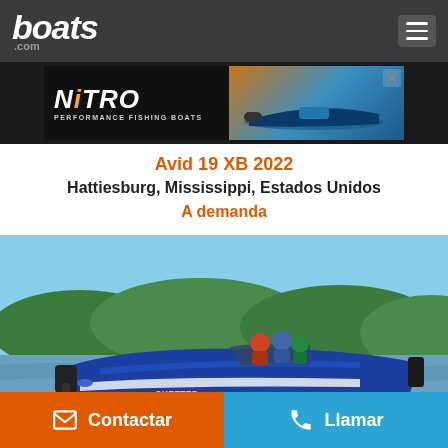[Figure (screenshot): boats.com website header with logo and hamburger menu on dark background]
[Figure (photo): NITRO Performance Fishing Boats advertisement banner showing a bass boat on water with yellow and dark background]
Avid 19 XB 2022
Hattiesburg, Mississippi, Estados Unidos
A demanda
[Figure (photo): Blue Skeeter bass boat speeding on a lake with passengers, green forested shoreline in the background]
Contactar
Llamar